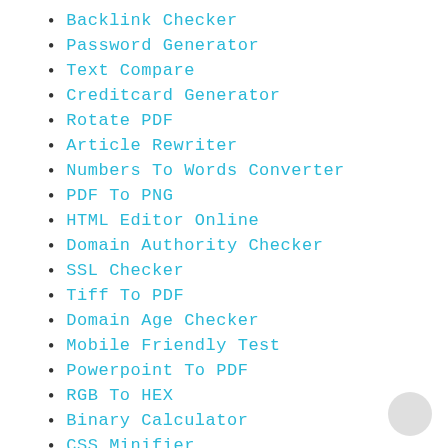Backlink Checker
Password Generator
Text Compare
Creditcard Generator
Rotate PDF
Article Rewriter
Numbers To Words Converter
PDF To PNG
HTML Editor Online
Domain Authority Checker
SSL Checker
Tiff To PDF
Domain Age Checker
Mobile Friendly Test
Powerpoint To PDF
RGB To HEX
Binary Calculator
CSS Minifier
PDF To Powerpoint
Watermark PDF